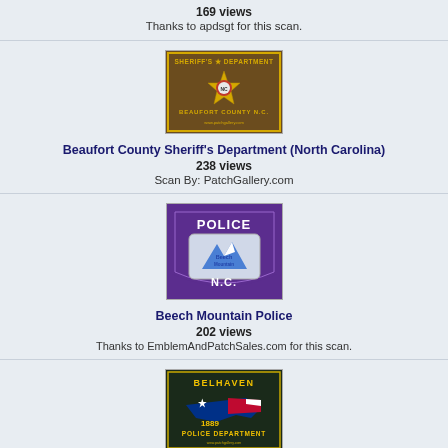169 views
Thanks to apdsgt for this scan.
[Figure (photo): Beaufort County Sheriff's Department (North Carolina) patch - brown background with gold star and text]
Beaufort County Sheriff's Department (North Carolina)
238 views
Scan By: PatchGallery.com
[Figure (photo): Beech Mountain Police patch - purple background with mountain logo and N.C. text]
Beech Mountain Police
202 views
Thanks to EmblemAndPatchSales.com for this scan.
[Figure (photo): Belhaven Police Department (North Carolina) patch - dark background with NC flag colors and 1889 text]
Belhaven Police Department (North Carolina)
161 views
Scan By: PatchGallery.com